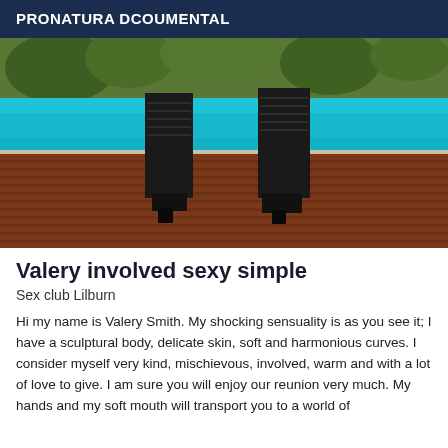PRONATURA DCOUMENTAL
[Figure (photo): Photo of a person standing on a wooden deck near a pool, wearing black knee-high lace-up platform boots. Only legs are visible. Pool water is turquoise-blue in the background with trees/greenery visible.]
Valery involved sexy simple
Sex club Lilburn
Hi my name is Valery Smith. My shocking sensuality is as you see it; I have a sculptural body, delicate skin, soft and harmonious curves. I consider myself very kind, mischievous, involved, warm and with a lot of love to give. I am sure you will enjoy our reunion very much. My hands and my soft mouth will transport you to a world of